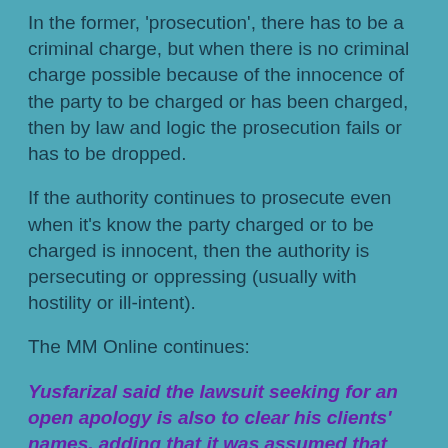In the former, 'prosecution', there has to be a criminal charge, but when there is no criminal charge possible because of the innocence of the party to be charged or has been charged, then by law and logic the prosecution fails or has to be dropped.
If the authority continues to prosecute even when it's know the party charged or to be charged is innocent, then the authority is persecuting or oppressing (usually with hostility or ill-intent).
The MM Online continues:
Yusfarizal said the lawsuit seeking for an open apology is also to clear his clients' names, adding that it was assumed that JAWI had yet to drop investigations as it had failed to respond to